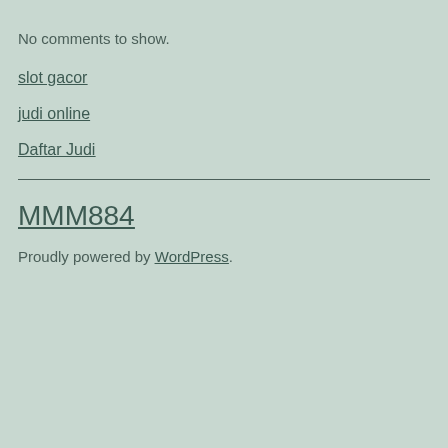No comments to show.
slot gacor
judi online
Daftar Judi
MMM884
Proudly powered by WordPress.